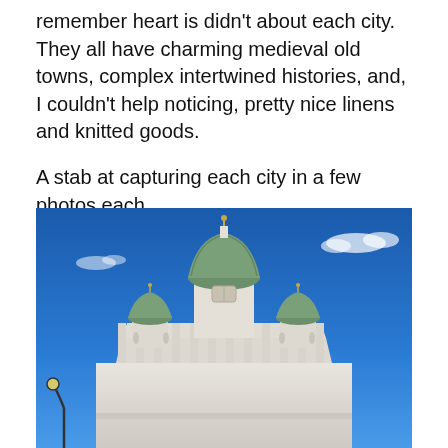remember heart is didn't about each city. They all have charming medieval old towns, complex intertwined histories, and, I couldn't help noticing, pretty nice linens and knitted goods.

A stab at capturing each city in a few photos each.
[Figure (photo): Photograph of a large white neoclassical cathedral with green copper domes against a vivid blue sky with a few white clouds. The central dome is the largest, flanked by smaller domes at the corners. A street lamp is visible at the lower left. The building appears to be Helsinki Cathedral.]